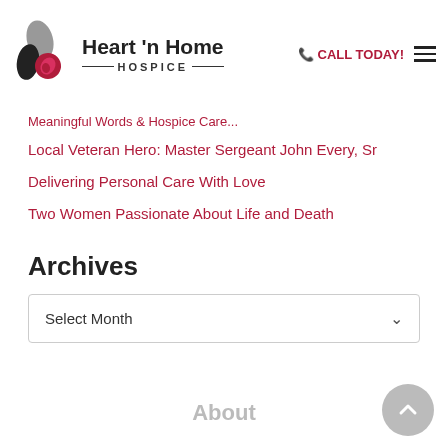Heart 'n Home HOSPICE — CALL TODAY!
Meaningful Words & Hospice Care (partial)
Local Veteran Hero: Master Sergeant John Every, Sr
Delivering Personal Care With Love
Two Women Passionate About Life and Death
Archives
Select Month
About